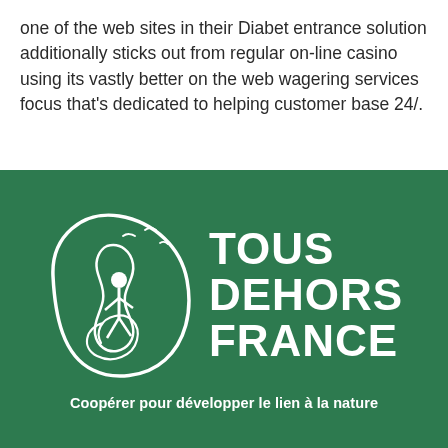one of the web sites in their Diabet entrance solution additionally sticks out from regular on-line casino using its vastly better on the web wagering services focus that's dedicated to helping customer base 24/.
[Figure (logo): Tous Dehors France logo on green background: white outline illustration of a person walking inside a nature-shape with birds, beside bold white text 'TOUS DEHORS FRANCE' and tagline 'Coopérer pour développer le lien à la nature']
Coopérer pour développer le lien à la nature